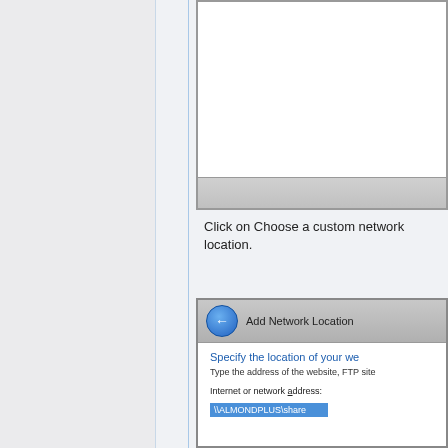[Figure (screenshot): Partial screenshot of a Windows dialog box, top portion only showing white content area and grey bottom bar]
Click on Choose a custom network location.
[Figure (screenshot): Screenshot of Windows 'Add Network Location' wizard showing 'Specify the location of your website', 'Type the address of the website, FTP site', 'Internet or network address:' label, and input field containing \\ALMONDPLUS\share highlighted in blue]